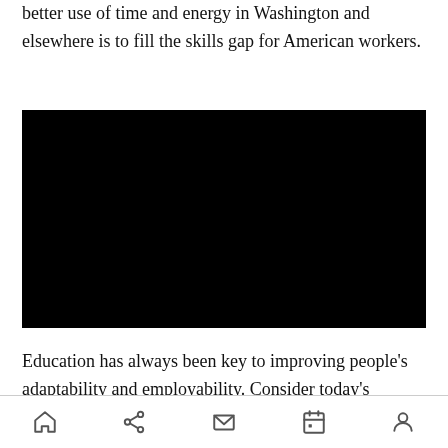better use of time and energy in Washington and elsewhere is to fill the skills gap for American workers.
[Figure (photo): A solid black rectangular image block, likely an embedded video or redacted image placeholder.]
Education has always been key to improving people's adaptability and employability. Consider today's demands for well-trained workers,
Home | Share | Mail | Calendar | Profile